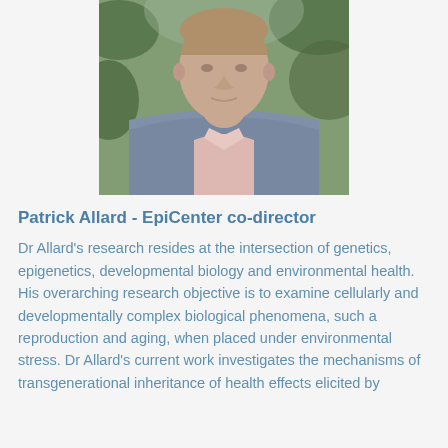[Figure (photo): Headshot photograph of Patrick Allard, a man in a grey blazer and pink shirt, photographed outdoors with green foliage in the background.]
Patrick Allard - EpiCenter co-director
Dr Allard’s research resides at the intersection of genetics, epigenetics, developmental biology and environmental health. His overarching research objective is to examine cellularly and developmentally complex biological phenomena, such a reproduction and aging, when placed under environmental stress. Dr Allard’s current work investigates the mechanisms of transgenerational inheritance of health effects elicited by